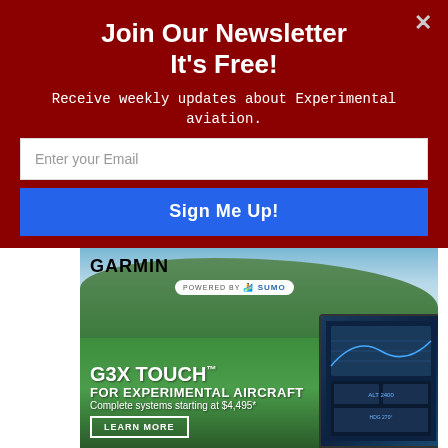Join Our Newsletter
It's Free!
Receive weekly updates about Experimental aviation.
Enter your Email
Sign Me Up!
[Figure (screenshot): Garmin G3X Touch advertisement showing aerial landscape with the text 'G3X TOUCH FOR EXPERIMENTAL AIRCRAFT Complete systems starting at $4,495*' and a 'LEARN MORE' button, alongside an image of a flight display device. Powered by SUMO badge visible.]